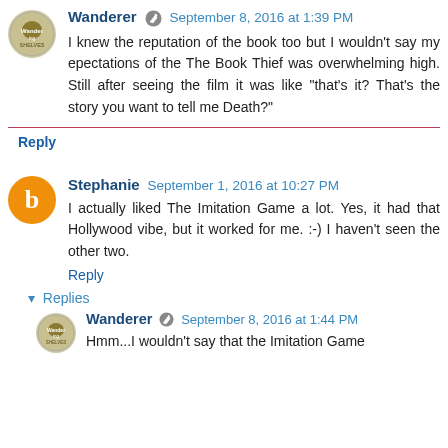Wanderer  September 8, 2016 at 1:39 PM
I knew the reputation of the book too but I wouldn't say my epectations of the The Book Thief was overwhelming high. Still after seeing the film it was like "that's it? That's the story you want to tell me Death?"
Reply
Stephanie  September 1, 2016 at 10:27 PM
I actually liked The Imitation Game a lot. Yes, it had that Hollywood vibe, but it worked for me. :-) I haven't seen the other two.
Reply
▾  Replies
Wanderer  September 8, 2016 at 1:44 PM
Hmm...I wouldn't say that the Imitation Game